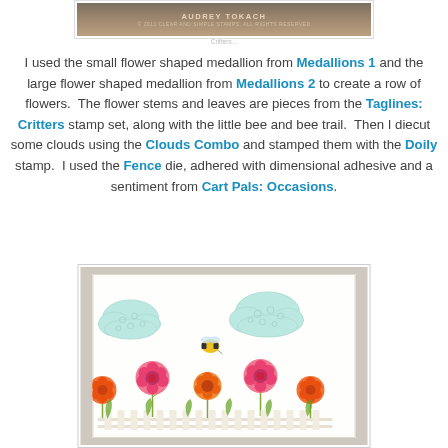[Figure (photo): Top portion of a crafting/stamping photo showing 'Audrey Tokach' watermark text on a background with stamp supplies. Copyright 2011 Clear and Simple Stamps.]
I used the small flower shaped medallion from Medallions 1 and the large flower shaped medallion from Medallions 2 to create a row of flowers.  The flower stems and leaves are pieces from the Taglines: Critters stamp set, along with the little bee and bee trail.  Then I diecut some clouds using the Clouds Combo and stamped them with the Doily stamp.  I used the Fence die, adhered with dimensional adhesive and a sentiment from Cart Pals: Occasions.
[Figure (photo): A handmade greeting card featuring colorful flowers (pink and orange) along the bottom, two teal/mint colored cloud shapes stamped with a doily pattern at the top, a small bee with a trail, and a white fence along the bottom edge. The card has a light cream/white background.]